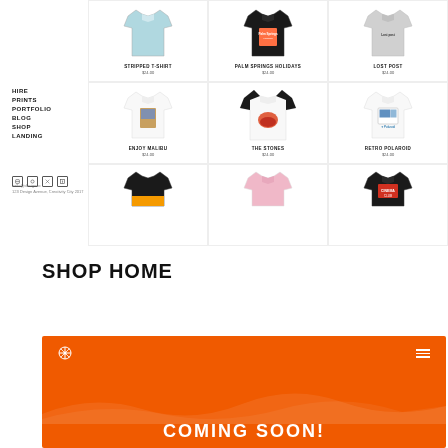HIRE
PRINTS
PORTFOLIO
BLOG
SHOP
LANDING
[Figure (screenshot): E-commerce shop grid showing 6 t-shirts in 2 rows of 3: Stripped T-Shirt, Palm Springs Holidays, Lost Post (row 1); Enjoy Malibu, The Stones, Retro Polaroid (row 2), plus partial third row]
STRIPPED T-SHIRT
PALM SPRINGS HOLIDAYS
LOST POST
ENJOY MALIBU
THE STONES
RETRO POLAROID
SHOP HOME
[Figure (screenshot): Orange coming soon banner with snowflake logo, hamburger menu, wave pattern and COMING SOON! text in white]